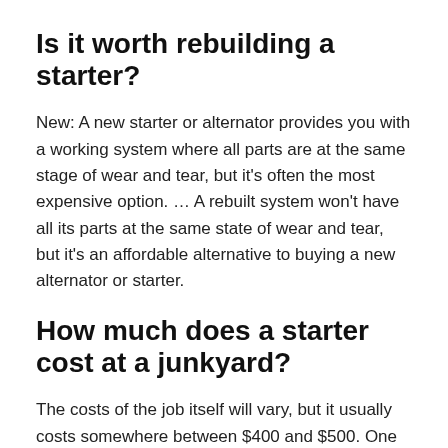Is it worth rebuilding a starter?
New: A new starter or alternator provides you with a working system where all parts are at the same stage of wear and tear, but it's often the most expensive option. … A rebuilt system won't have all its parts at the same state of wear and tear, but it's an affordable alternative to buying a new alternator or starter.
How much does a starter cost at a junkyard?
The costs of the job itself will vary, but it usually costs somewhere between $400 and $500. One of the most important factors regarding the overall cost of replacing the